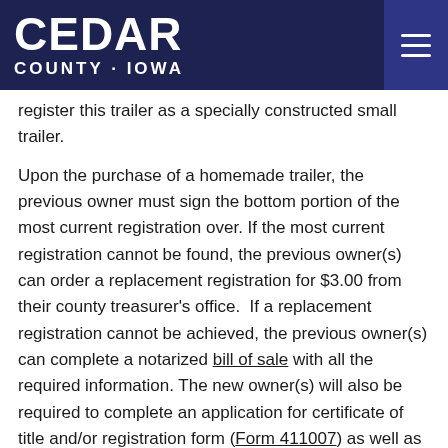CEDAR COUNTY · IOWA
register this trailer as a specially constructed small trailer.
Upon the purchase of a homemade trailer, the previous owner must sign the bottom portion of the most current registration over. If the most current registration cannot be found, the previous owner(s) can order a replacement registration for $3.00 from their county treasurer's office. If a replacement registration cannot be achieved, the previous owner(s) can complete a notarized bill of sale with all the required information. The new owner(s) will also be required to complete an application for certificate of title and/or registration form (Form 411007) as well as a completed bill of sale at the time of transfer.
Travel Trailers